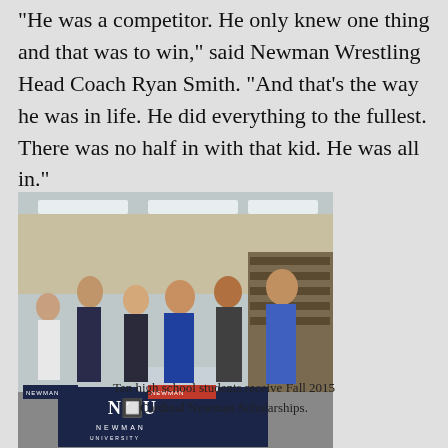“He was a competitor. He only knew one thing and that was to win,” said Newman Wrestling Head Coach Ryan Smith. “And that’s the way he was in life. He did everything to the fullest. There was no half in with that kid. He was all in.”
[Figure (photo): Group of people standing at a Newman University signing event in what appears to be a school library or media center. A table with a dark blue Newman University tablecloth bearing the NU logo is visible in the foreground.]
Ten high school students receive Fall 2015 Cardinal Newman Scholarships.